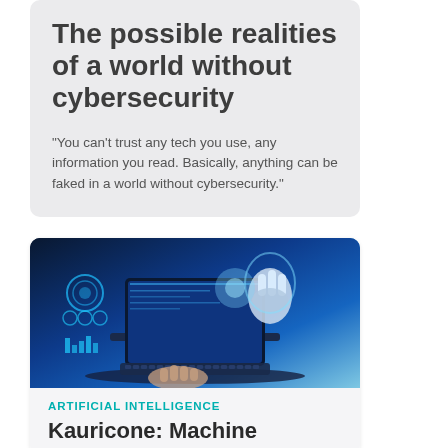The possible realities of a world without cybersecurity
"You can't trust any tech you use, any information you read. Basically, anything can be faked in a world without cybersecurity."
[Figure (photo): A futuristic AI and technology themed image showing a human hand typing on a laptop with a robotic hand emerging from a glowing digital display, surrounded by holographic tech interfaces and charts in blue tones.]
ARTIFICIAL INTELLIGENCE
Kauricone: Machine